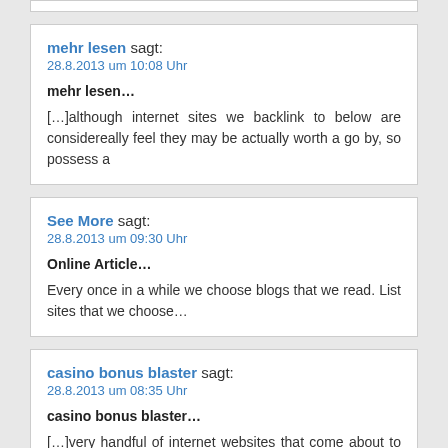mehr lesen sagt:
28.8.2013 um 10:08 Uhr

mehr lesen...

[...]although internet sites we backlink to below are considered, really feel they may be actually worth a go by, so possess a
See More sagt:
28.8.2013 um 09:30 Uhr

Online Article...

Every once in a while we choose blogs that we read. Listed below are the sites that we choose...
casino bonus blaster sagt:
28.8.2013 um 08:35 Uhr

casino bonus blaster...

[...]very handful of internet websites that come about to be in depth below, from our point of view are undoubtedly nicely worth checking out[...]...